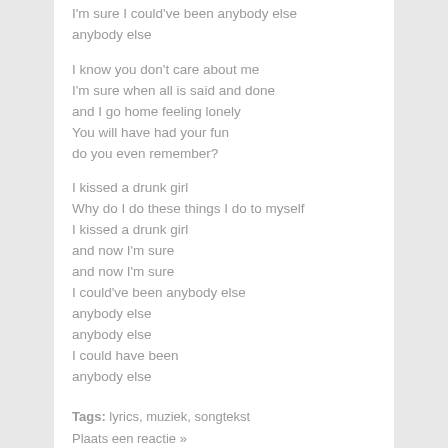I'm sure I could've been anybody else
anybody else
I know you don't care about me
I'm sure when all is said and done
and I go home feeling lonely
You will have had your fun
do you even remember?
I kissed a drunk girl
Why do I do these things I do to myself
I kissed a drunk girl
and now I'm sure
and now I'm sure
I could've been anybody else
anybody else
anybody else
I could have been
anybody else
Tags: lyrics, muziek, songtekst
Plaats een reactie »